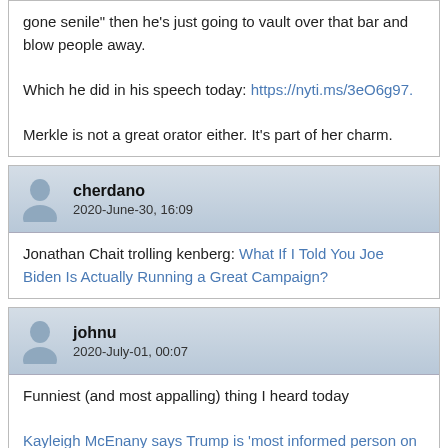gone senile" then he's just going to vault over that bar and blow people away.

Which he did in his speech today: https://nyti.ms/3eO6g97.

Merkle is not a great orator either. It's part of her charm.
cherdano
2020-June-30, 16:09
Jonathan Chait trolling kenberg: What If I Told You Joe Biden Is Actually Running a Great Campaign?
johnu
2020-July-01, 00:07
Funniest (and most appalling) thing I heard today

Kayleigh McEnany says Trump is ‘most informed person on planet Earth’ about threats to US